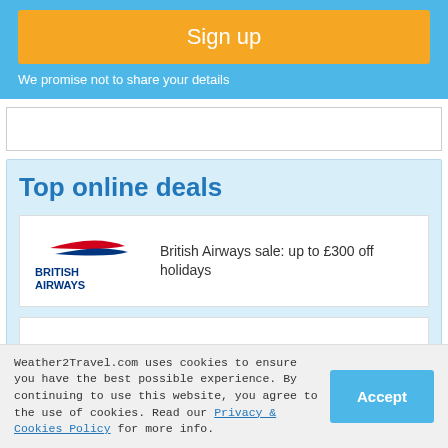Sign up
We promise not to share your details
Top online deals
[Figure (logo): British Airways logo with red and blue swoosh]
British Airways sale: up to £300 off holidays
[Figure (logo): Holiday Autos logo in orange with car icon]
Holiday Autos: up to 10% off car hire worldwide
Weather2Travel.com uses cookies to ensure you have the best possible experience. By continuing to use this website, you agree to the use of cookies. Read our Privacy & Cookies Policy for more info.